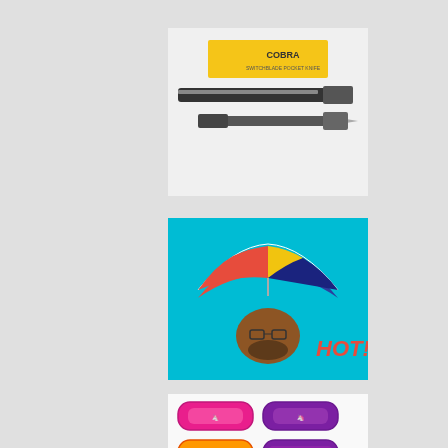[Figure (photo): Product photo of a switchblade knife with yellow box packaging labeled 'COBRA']
[Figure (photo): Photo of a man wearing a colorful head umbrella hat (red, yellow, blue) with 'HOT!' text in red on cyan background]
[Figure (photo): Photo of colorful unicorn-themed wristbands/bracelets and slap bracelets in pink, purple, and rainbow colors]